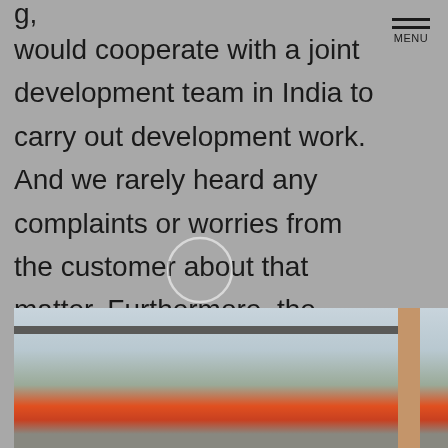g, would cooperate with a joint development team in India to carry out development work. And we rarely heard any complaints or worries from the customer about that matter. Furthermore, the customers said that they were delighted because the development speed was fast, also they received the progress report from JIITAK diligently, and so they feel comfortable to consult with JIITAK. "
[Figure (photo): Exterior photo of a building with a covered area, reddish structure, and a column visible, taken under a cloudy sky.]